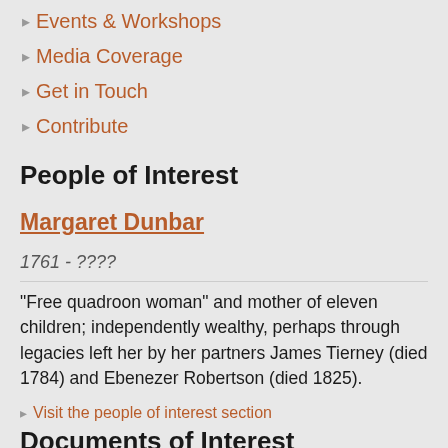Events & Workshops
Media Coverage
Get in Touch
Contribute
People of Interest
Margaret Dunbar
1761 - ????
"Free quadroon woman" and mother of eleven children; independently wealthy, perhaps through legacies left her by her partners James Tierney (died 1784) and Ebenezer Robertson (died 1825).
Visit the people of interest section
Documents of Interest